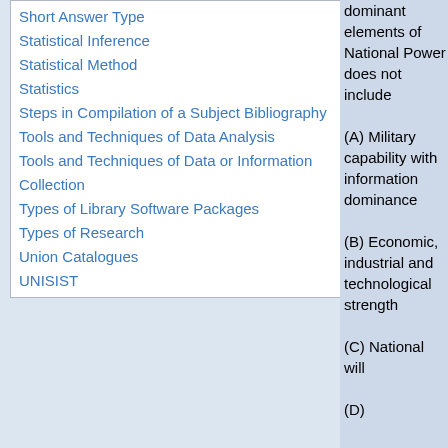Short Answer Type
Statistical Inference
Statistical Method
Statistics
Steps in Compilation of a Subject Bibliography
Tools and Techniques of Data Analysis
Tools and Techniques of Data or Information Collection
Types of Library Software Packages
Types of Research
Union Catalogues
UNISIST
dominant elements of National Power does not include

(A) Military capability with information dominance

(B) Economic, industrial and technological strength

(C) National will

(D)